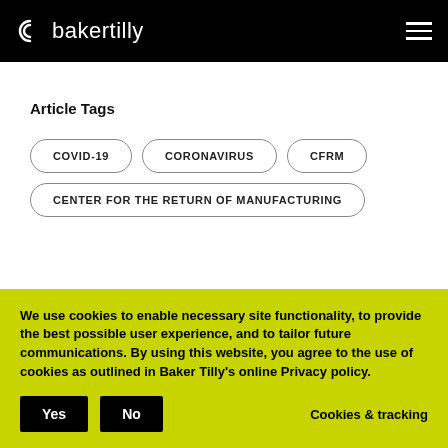bakertilly
Article Tags
COVID-19
CORONAVIRUS
CFRM
CENTER FOR THE RETURN OF MANUFACTURING
We use cookies to enable necessary site functionality, to provide the best possible user experience, and to tailor future communications. By using this website, you agree to the use of cookies as outlined in Baker Tilly's online Privacy policy.
Yes
No
Cookies & tracking